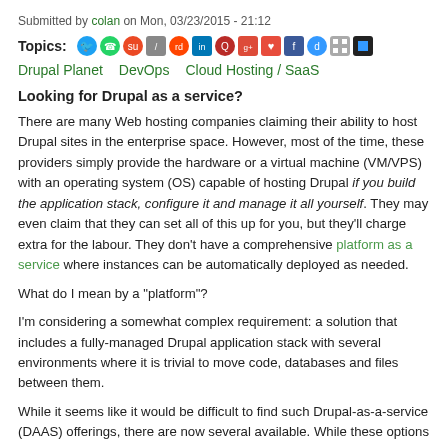Submitted by colan on Mon, 03/23/2015 - 21:12
Topics: [social sharing icons]
Drupal Planet   DevOps   Cloud Hosting / SaaS
Looking for Drupal as a service?
There are many Web hosting companies claiming their ability to host Drupal sites in the enterprise space. However, most of the time, these providers simply provide the hardware or a virtual machine (VM/VPS) with an operating system (OS) capable of hosting Drupal if you build the application stack, configure it and manage it all yourself. They may even claim that they can set all of this up for you, but they'll charge extra for the labour. They don't have a comprehensive platform as a service where instances can be automatically deployed as needed.
What do I mean by a "platform"?
I'm considering a somewhat complex requirement: a solution that includes a fully-managed Drupal application stack with several environments where it is trivial to move code, databases and files between them.
While it seems like it would be difficult to find such Drupal-as-a-service (DAAS) offerings, there are now several available. While these options may seem expensive relative to generic Web-site hosting, they'll save you